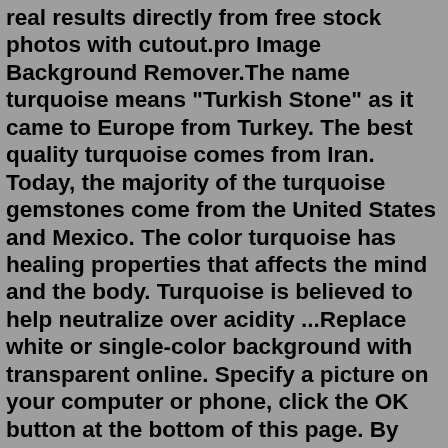real results directly from free stock photos with cutout.pro Image Background Remover.The name turquoise means "Turkish Stone" as it came to Europe from Turkey. The best quality turquoise comes from Iran. Today, the majority of the turquoise gemstones come from the United States and Mexico. The color turquoise has healing properties that affects the mind and the body. Turquoise is believed to help neutralize over acidity ...Replace white or single-color background with transparent online. Specify a picture on your computer or phone, click the OK button at the bottom of this page. By default the white or single-color background of the image is replaced with a transparent one. The background color of the source image is determined automatically, you just need to ...Remove ads and popups to enter the heaven of colors; Generate palettes with more than 5 colors automatically or with color theory rules; Save unlimited palettes, colors and gradients, and organize them in projects and collections; Explore more than 10 million colors, and look for more inspiration;